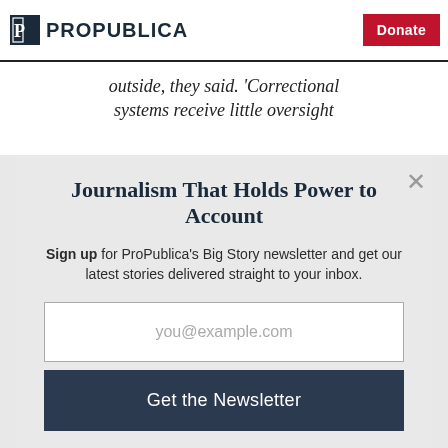ProPublica — Donate
outside, they said. 'Correctional systems receive little oversight
Journalism That Holds Power to Account
Sign up for ProPublica's Big Story newsletter and get our latest stories delivered straight to your inbox.
you@example.com
Get the Newsletter
No thanks, I'm all set
This site is protected by reCAPTCHA and the Google Privacy Policy and Terms of Service apply.